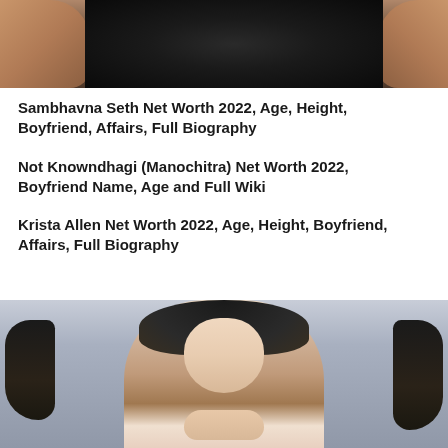[Figure (photo): Top portion of a person wearing a black outfit, arms visible on both sides, cropped at torso level]
Sambhavna Seth Net Worth 2022, Age, Height, Boyfriend, Affairs, Full Biography
Not Knowndhagi (Manochitra) Net Worth 2022, Boyfriend Name, Age and Full Wiki
Krista Allen Net Worth 2022, Age, Height, Boyfriend, Affairs, Full Biography
[Figure (photo): Young woman with dark wavy hair, wearing a red strap outfit, posing with hands clasped near chin, light gray background]